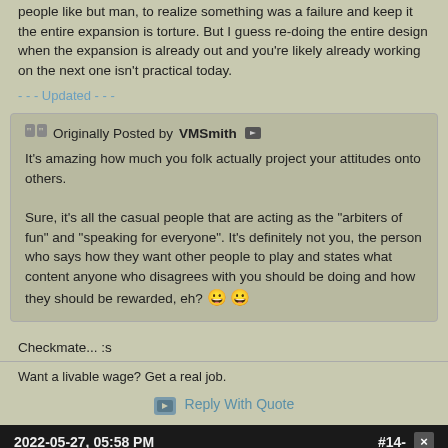people like but man, to realize something was a failure and keep it the entire expansion is torture. But I guess re-doing the entire design when the expansion is already out and you're likely already working on the next one isn't practical today.
- - - Updated - - -
Originally Posted by VMSmith
It's amazing how much you folk actually project your attitudes onto others.

Sure, it's all the casual people that are acting as the "arbiters of fun" and "speaking for everyone". It's definitely not you, the person who says how they want other people to play and states what content anyone who disagrees with you should be doing and how they should be rewarded, eh? 😀 😀
Checkmate... :s
Want a livable wage? Get a real job.
Reply With Quote
2022-05-27, 05:58 PM   #14-
[Figure (screenshot): Bloomingdale's advertisement banner: 'bloomingdales View Today's Top Deals!' with a photo of a woman in a hat and a 'SHOP NOW >' button]
VMSmit...